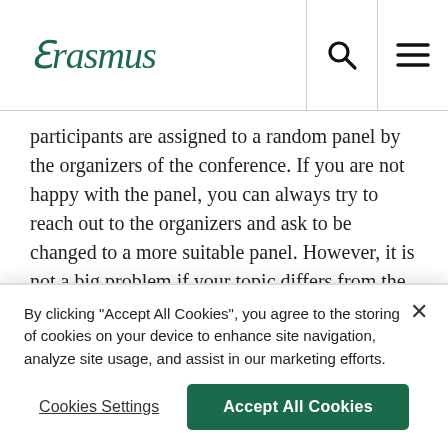Erasmus [logo]
participants are assigned to a random panel by the organizers of the conference. If you are not happy with the panel, you can always try to reach out to the organizers and ask to be changed to a more suitable panel. However, it is not a big problem if your topic differs from the rest of the panel.
If you have a network (or the beginnings of one) already, you can join a panel organized by someone you already know. And even if you don't have a network yet, it is still possible to set up your own
By clicking "Accept All Cookies", you agree to the storing of cookies on your device to enhance site navigation, analyze site usage, and assist in our marketing efforts.
Cookies Settings
Accept All Cookies